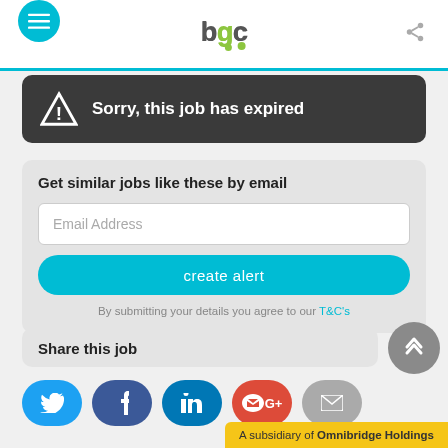bgc
Sorry, this job has expired
Get similar jobs like these by email
Email Address
create alert
By submitting your details you agree to our T&C's
Share this job
A subsidiary of Omnibridge Holdings